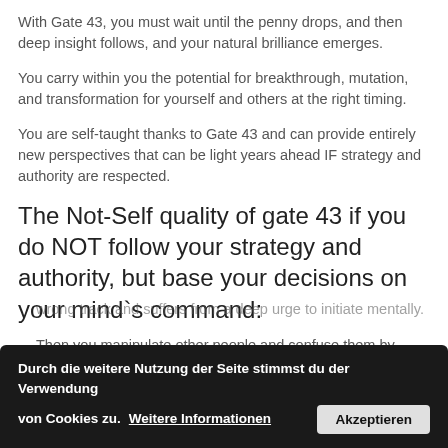With Gate 43, you must wait until the penny drops, and then deep insight follows, and your natural brilliance emerges.
You carry within you the potential for breakthrough, mutation, and transformation for yourself and others at the right timing.
You are self-taught thanks to Gate 43 and can provide entirely new perspectives that can be light years ahead IF strategy and authority are respected.
The Not-Self quality of gate 43 if you do NOT follow your strategy and authority, but base your decisions on your mind`s command:
Then you manipulate other people and confuse them by giving them a false perspective of yourself, a circumstance, or the world.
wrong track and suffers from a deep urge to initiate mentally.